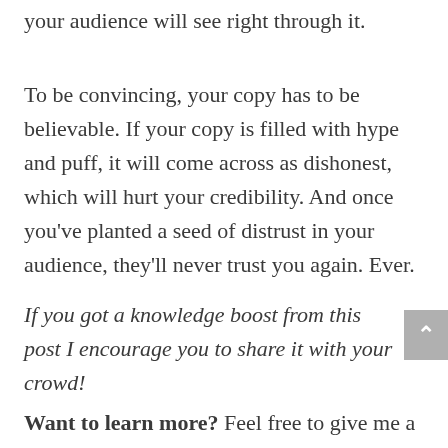write will for the sake of hype, because your audience will see right through it.
To be convincing, your copy has to be believable. If your copy is filled with hype and puff, it will come across as dishonest, which will hurt your credibility. And once you've planted a seed of distrust in your audience, they'll never trust you again. Ever.
If you got a knowledge boost from this post I encourage you to share it with your crowd!
Want to learn more? Feel free to give me a call at (303) 697-4793